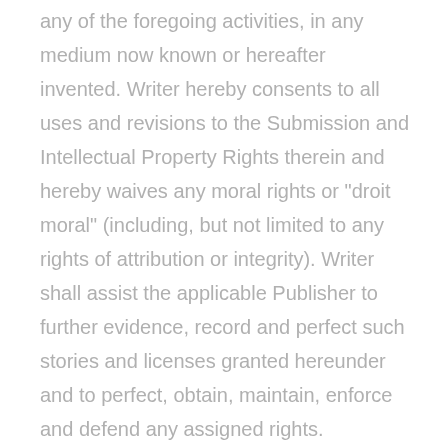any of the foregoing activities, in any medium now known or hereafter invented. Writer hereby consents to all uses and revisions to the Submission and Intellectual Property Rights therein and hereby waives any moral rights or "droit moral" (including, but not limited to any rights of attribution or integrity). Writer shall assist the applicable Publisher to further evidence, record and perfect such stories and licenses granted hereunder and to perfect, obtain, maintain, enforce and defend any assigned rights.
Confidentiality. Writer agrees that the business, technical and financial information of Contently or any Publisher, that is designated in writing as